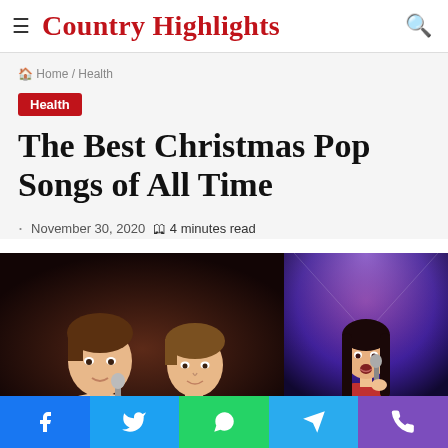Country Highlights
Home / Health
Health
The Best Christmas Pop Songs of All Time
November 30, 2020  4 minutes read
[Figure (photo): Two young male singers performing on stage, dark background (left); Female singer in red dress holding microphone under purple/blue stage lights (right)]
Facebook | Twitter | WhatsApp | Telegram | Phone